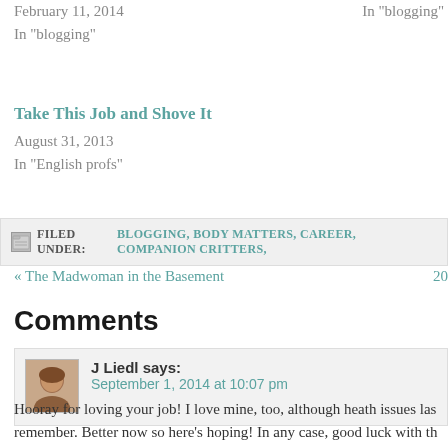February 11, 2014
In "blogging"
In "blogging"
Take This Job and Shove It
August 31, 2013
In "English profs"
FILED UNDER: BLOGGING, BODY MATTERS, CAREER, COMPANION CRITTERS,
« The Madwoman in the Basement   20
Comments
J Liedl says:
September 1, 2014 at 10:07 pm
Hooray for loving your job! I love mine, too, although heath issues last remember. Better now so here's hoping! In any case, good luck with the the term to follow!.